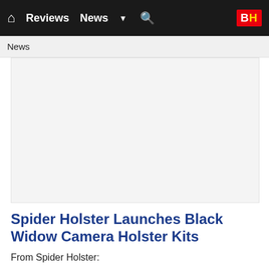Reviews  News  ▼  🔍  BH
News
[Figure (photo): Large image placeholder area (light gray background), content of article image]
Spider Holster Launches Black Widow Camera Holster Kits
From Spider Holster: